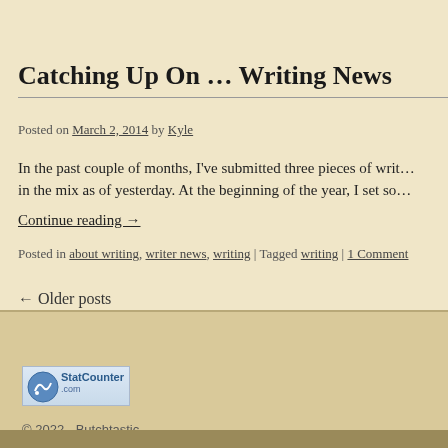Catching Up On … Writing News
Posted on March 2, 2014 by Kyle
In the past couple of months, I've submitted three pieces of writ... in the mix as of yesterday. At the beginning of the year, I set so...
Continue reading →
Posted in about writing, writer news, writing | Tagged writing | 1 Comment
← Older posts
[Figure (logo): StatCounter.com logo badge]
© 2022 - Butchtastic